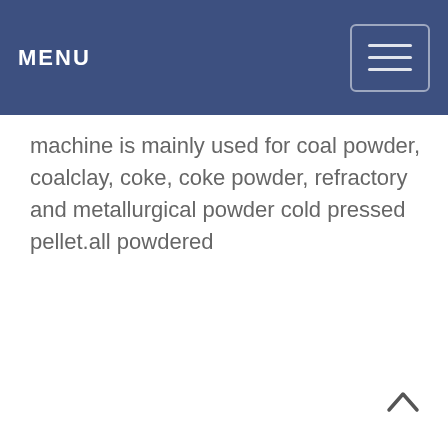MENU
machine is mainly used for coal powder, coalclay, coke, coke powder, refractory and metallurgical powder cold pressed pellet.all powdered